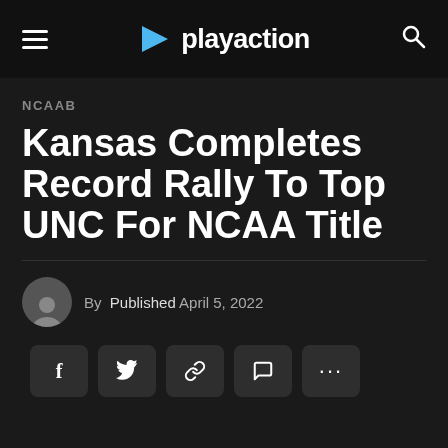playaction
NCAAB
Kansas Completes Record Rally To Top UNC For NCAA Title
By  Published April 5, 2022